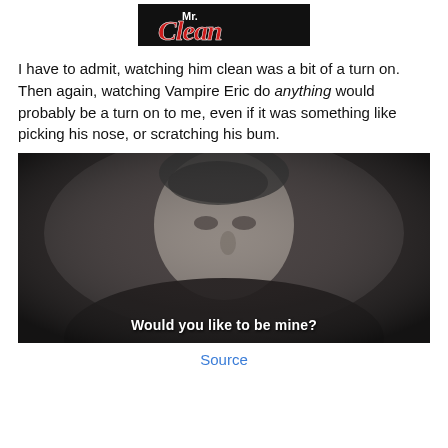[Figure (logo): Mr. Clean logo – red stylized cursive text on dark background]
I have to admit, watching him clean was a bit of a turn on.  Then again, watching Vampire Eric do anything would probably be a turn on to me, even if it was something like picking his nose, or scratching his bum.
[Figure (photo): Black and white still of a man looking intensely at camera with subtitle text 'Would you like to be mine?']
Source